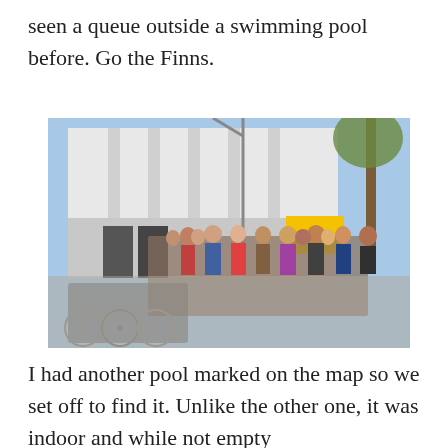seen a queue outside a swimming pool before. Go the Finns.
[Figure (photo): A crowd of people queuing outside a large white modernist swimming pool building. Bicycles are parked in the foreground on the left. A tall tree is visible on the right side. The sky is blue and clear.]
I had another pool marked on the map so we set off to find it. Unlike the other one, it was indoor and while not empty